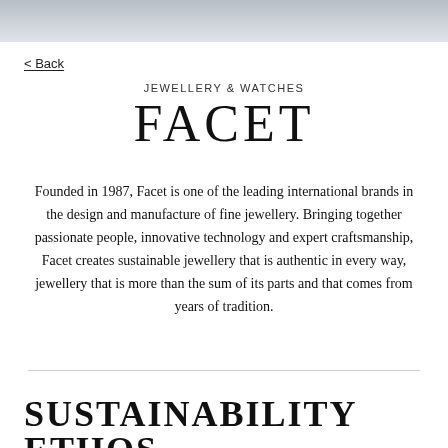[Figure (photo): Cropped photo strip showing partial view of a person wearing light-colored clothing]
< Back
JEWELLERY & WATCHES
FACET
Founded in 1987, Facet is one of the leading international brands in the design and manufacture of fine jewellery. Bringing together passionate people, innovative technology and expert craftsmanship, Facet creates sustainable jewellery that is authentic in every way, jewellery that is more than the sum of its parts and that comes from years of tradition.
SUSTAINABILITY ETHOS